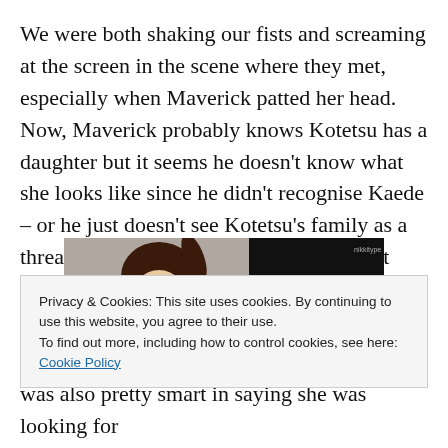We were both shaking our fists and screaming at the screen in the scene where they met, especially when Maverick patted her head. Now, Maverick probably knows Kotetsu has a daughter but it seems he doesn't know what she looks like since he didn't recognise Kaede – or he just doesn't see Kotetsu's family as a threat. He's probably on a power trip right now, and thinks he's
[Figure (photo): Anime screenshot showing a young girl character with brown hair in a ponytail, wearing a purple and white outfit, looking surprised or distressed, against a dark background. A dark silhouette figure is visible on the right side.]
Privacy & Cookies: This site uses cookies. By continuing to use this website, you agree to their use.
To find out more, including how to control cookies, see here: Cookie Policy
was also pretty smart in saying she was looking for